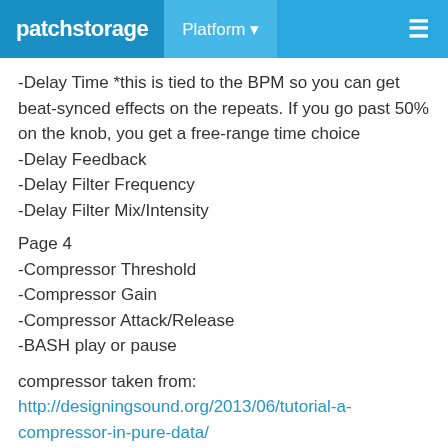patchstorage  Platform  ☰
-Delay Time *this is tied to the BPM so you can get beat-synced effects on the repeats. If you go past 50% on the knob, you get a free-range time choice
-Delay Feedback
-Delay Filter Frequency
-Delay Filter Mix/Intensity
Page 4
-Compressor Threshold
-Compressor Gain
-Compressor Attack/Release
-BASH play or pause
compressor taken from:
http://designingsound.org/2013/06/tutorial-a-compressor-in-pure-data/
TIPS: